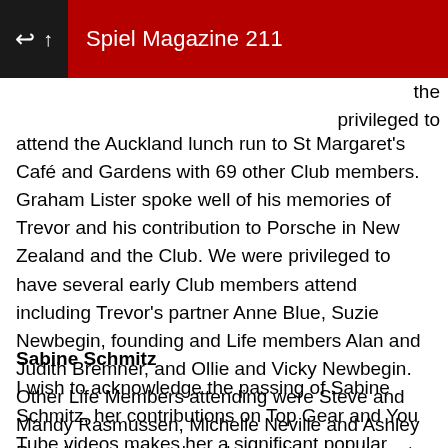Spiel Magazine 211
the privileged to attend the Auckland lunch run to St Margaret's Café and Gardens with 69 other Club members. Graham Lister spoke well of his memories of Trevor and his contribution to Porsche in New Zealand and the Club. We were privileged to have several early Club members attend including Trevor's partner Anne Blue, Suzie Newbegin, founding and Life members Alan and Judith Bremner, and Ollie and Vicky Newbegin. Other Life Members attending were Steve and Mandy Rasmussen, Michelle Neville and Ashley Powell. I need to acknowledge the commitment of Phil Harris and Gary Leong, having managed to squeeze in an Early 911 Group run though SH16 prior to the Trevor Hudson Run (nice to see their 356's get a good workout!)
Sabine Schmitz
I wish to acknowledge the passing of Sabine Schmitz, her contributions on Top Gear and You Tube videos makes her a significant popular culture and social media Porsche